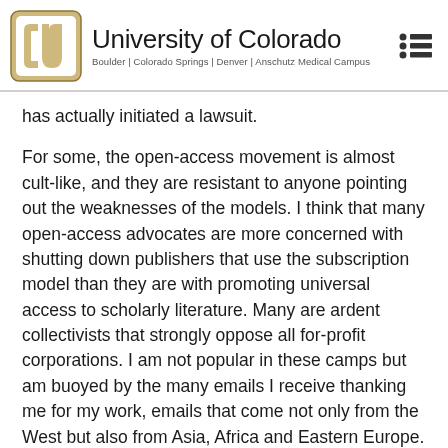University of Colorado — Boulder | Colorado Springs | Denver | Anschutz Medical Campus
has actually initiated a lawsuit.
For some, the open-access movement is almost cult-like, and they are resistant to anyone pointing out the weaknesses of the models. I think that many open-access advocates are more concerned with shutting down publishers that use the subscription model than they are with promoting universal access to scholarly literature. Many are ardent collectivists that strongly oppose all for-profit corporations. I am not popular in these camps but am buoyed by the many emails I receive thanking me for my work, emails that come not only from the West but also from Asia, Africa and Eastern Europe.
3. What are some characteristics of predatory